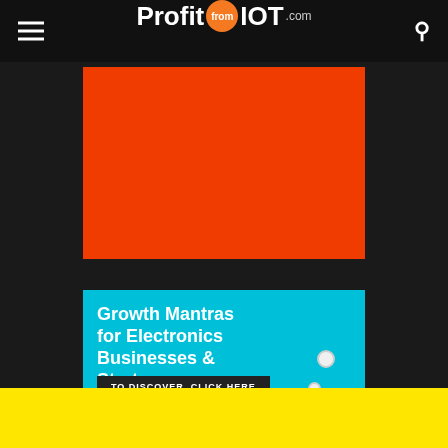ProfitfromIOT.com
[Figure (photo): Solid orange/red rectangle placeholder image]
[Figure (infographic): Advertisement banner with cyan background reading 'Growth Mantras for Electronics Businesses & Startups' with a 'TO DISCOVER, CLICK HERE' button and decorative elements including a yellow strip and Express book cover at bottom right]